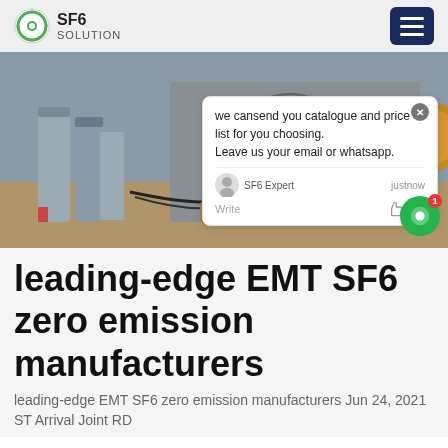SF6 SOLUTION
[Figure (photo): Industrial SF6 gas equipment setup with gas cylinders, hoses, and large industrial machinery. Workers in blue uniforms visible in background. Chat popup overlay visible on right side.]
leading-edge EMT SF6 zero emission manufacturers
leading-edge EMT SF6 zero emission manufacturers Jun 24, 2021 ST Arrival Joint RD